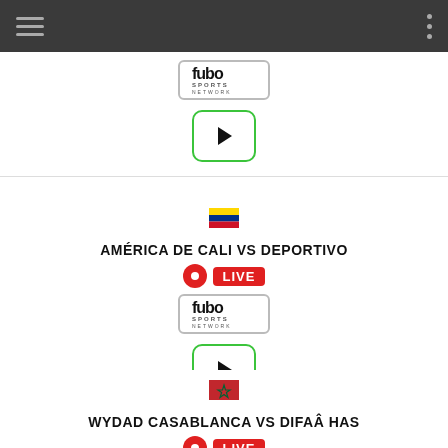Navigation bar with hamburger menu and dots menu
[Figure (logo): fubo Sports Network logo in bordered box]
[Figure (other): Green-bordered play button]
[Figure (other): Colombia flag emoji]
AMÉRICA DE CALI VS DEPORTIVO
[Figure (other): LIVE badge with red dot]
[Figure (logo): fubo Sports Network logo in bordered box]
[Figure (other): Green-bordered play button]
[Figure (other): Morocco flag emoji]
WYDAD CASABLANCA VS DIFAÂ HAS
[Figure (other): LIVE badge with red dot]